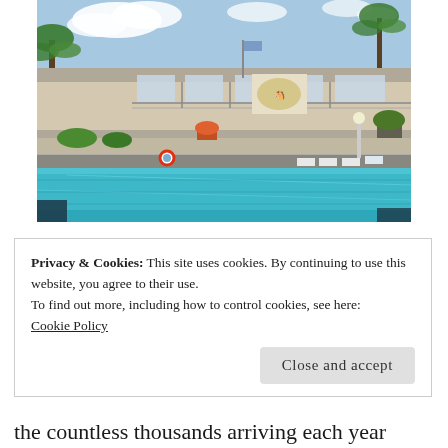[Figure (photo): Exterior photo of a motel or hotel with a large outdoor swimming pool in the foreground. The building is multi-story with balconies and railings. Pool chairs and lounge furniture are visible around the pool area. Palm trees and blue sky visible in the background.]
Privacy & Cookies: This site uses cookies. By continuing to use this website, you agree to their use.
To find out more, including how to control cookies, see here:
Cookie Policy
[Close and accept]
the countless thousands arriving each year